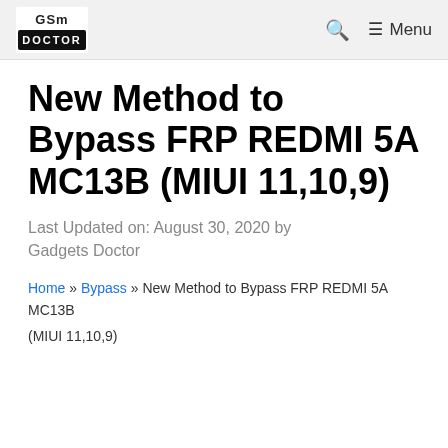GSM DOCTOR | Menu
New Method to Bypass FRP REDMI 5A MC13B (MIUI 11,10,9)
Last Updated on: August 30, 2020 by Gadgets Doctor
Home » Bypass » New Method to Bypass FRP REDMI 5A MC13B (MIUI 11,10,9)